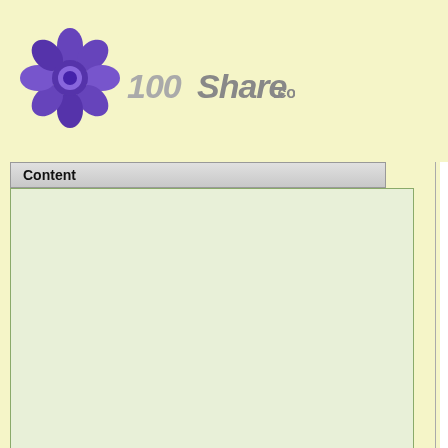[Figure (logo): 100Share.com website logo with purple flower/gear icon and stylized grey 100Share.com text]
Content
Homeland Security 14" Observation System w/T
Lis
Ou
Yo
Product Description
HLS 14" B/W MONTOR
Features